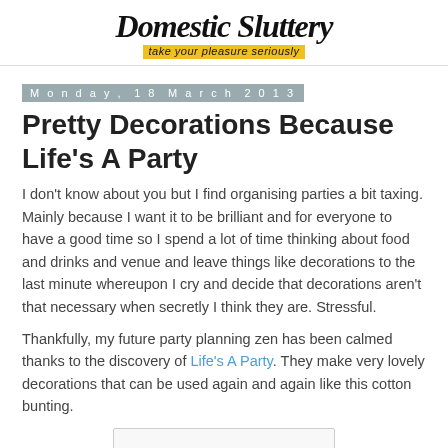Domestic Sluttery — take your pleasure seriously
Monday, 18 March 2013
Pretty Decorations Because Life's A Party
I don't know about you but I find organising parties a bit taxing. Mainly because I want it to be brilliant and for everyone to have a good time so I spend a lot of time thinking about food and drinks and venue and leave things like decorations to the last minute whereupon I cry and decide that decorations aren't that necessary when secretly I think they are. Stressful.
Thankfully, my future party planning zen has been calmed thanks to the discovery of Life's A Party. They make very lovely decorations that can be used again and again like this cotton bunting.
[Figure (photo): Bottom portion of an image, partially cut off at page bottom]